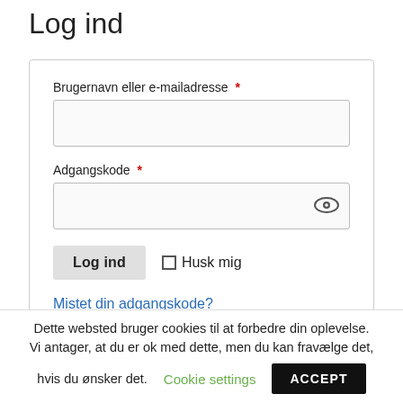Log ind
Brugernavn eller e-mailadresse *
Adgangskode *
Log ind  Husk mig
Mistet din adgangskode?
Dette websted bruger cookies til at forbedre din oplevelse. Vi antager, at du er ok med dette, men du kan fravælge det, hvis du ønsker det.
Cookie settings
ACCEPT